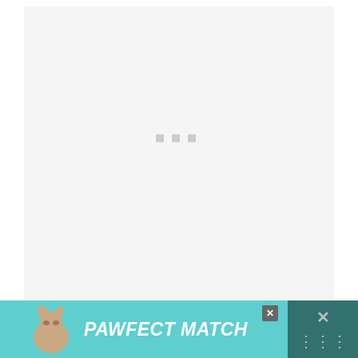[Figure (screenshot): A white/light gray card area with loading dots (three small gray squares) in the center, indicating an image is loading.]
[Figure (other): Teal circular heart/favorite button and a white circular share button on the right side of the page.]
Fun fact: In their small range they often
[Figure (other): Advertisement banner for PAWFECT MATCH featuring a dog illustration on a teal background with close button and right-side icons.]